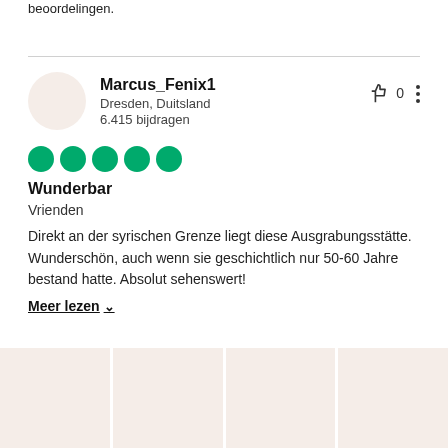beoordelingen.
Marcus_Fenix1
Dresden, Duitsland
6.415 bijdragen
[Figure (other): Five green filled circles representing a 5-bubble rating (Wunderbar)]
Wunderbar
Vrienden
Direkt an der syrischen Grenze liegt diese Ausgrabungsstätte. Wunderschön, auch wenn sie geschichtlich nur 50-60 Jahre bestand hatte. Absolut sehenswert!
Meer lezen
[Figure (photo): Four placeholder thumbnail images in a horizontal strip at the bottom]